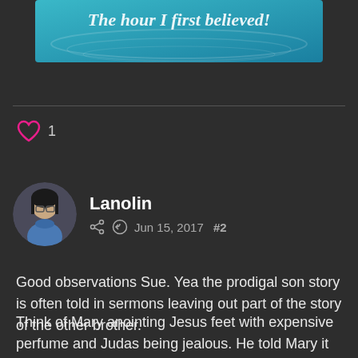[Figure (illustration): Teal/blue decorative image with cursive text reading 'The hour I first believed!']
[Figure (illustration): Heart/like icon with count of 1]
1
[Figure (illustration): Circular avatar of user Lanolin]
Lanolin
Jun 15, 2017  #2
Good observations Sue. Yea the prodigal son story is often told in sermons leaving out part of the story of the other brother.
Think of Mary anointing Jesus feet with expensive perfume and Judas being jealous. He told Mary it